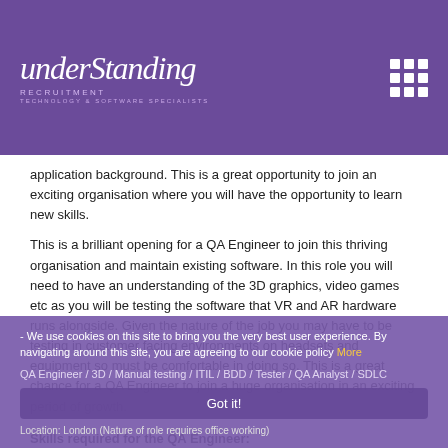Understanding Recruitment — Technology & Software Specialists
application background. This is a great opportunity to join an exciting organisation where you will have the opportunity to learn new skills.
This is a brilliant opening for a QA Engineer to join this thriving organisation and maintain existing software. In this role you will need to have an understanding of the 3D graphics, video games etc as you will be testing the software that VR and AR hardware runs alongside. Given the nature of the job you may have to be testing in customer facing environments on headsets and equipment so must be comfortable in doing so. This is a great chance for a QA Engineer to join a huge organisation in an exciting period of growth.
Skills required for the QA Engineer:
- Manual Test expertise
- 3D, video game, application tester
- Agile/Scrum experience
We use cookies on this site to bring you the very best user experience. By navigating around this site, you are agreeing to our cookie policy More
QA Engineer / 3D / Manual testing / ITIL / BDD / Tester / QA Analyst / SDLC
Got it!
Location: London (Nature of role requires office working)